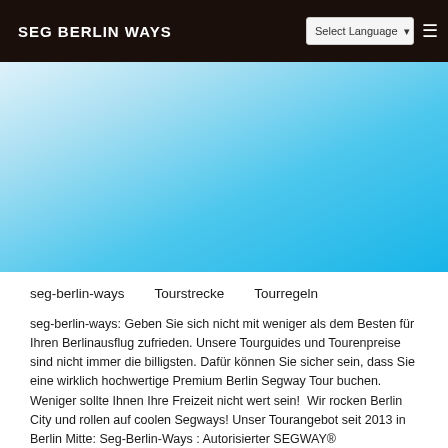SEG BERLIN WAYS
[Figure (other): Blue gradient hero background transitioning from light blue/white at top-left to bright sky blue at bottom-right]
seg-berlin-ways   Tourstrecke   Tourregeln
seg-berlin-ways: Geben Sie sich nicht mit weniger als dem Besten für Ihren Berlinausflug zufrieden. Unsere Tourguides und Tourenpreise sind nicht immer die billigsten. Dafür können Sie sicher sein, dass Sie eine wirklich hochwertige Premium Berlin Segway Tour buchen. Weniger sollte Ihnen Ihre Freizeit nicht wert sein!  Wir rocken Berlin City und rollen auf coolen Segways! Unser Tourangebot seit 2013 in Berlin Mitte: Seg-Berlin-Ways : Autorisierter SEGWAY® Tourenveranstalter - Partner der Berlin WelcomeCard 2019 – 2021 - Tour Meeting